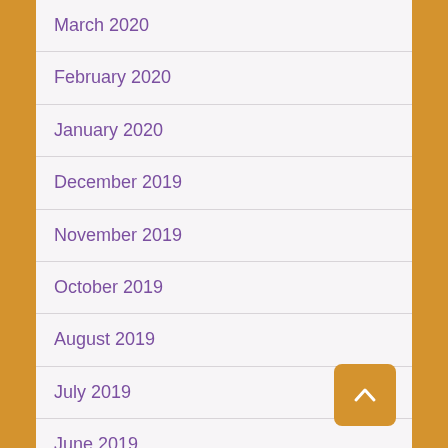March 2020
February 2020
January 2020
December 2019
November 2019
October 2019
August 2019
July 2019
June 2019
May 2019
March 2019
February 2019